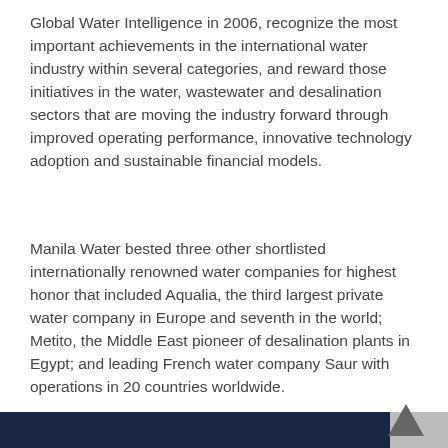Global Water Intelligence in 2006, recognize the most important achievements in the international water industry within several categories, and reward those initiatives in the water, wastewater and desalination sectors that are moving the industry forward through improved operating performance, innovative technology adoption and sustainable financial models.
Manila Water bested three other shortlisted internationally renowned water companies for highest honor that included Aqualia, the third largest private water company in Europe and seventh in the world; Metito, the Middle East pioneer of desalination plants in Egypt; and leading French water company Saur with operations in 20 countries worldwide.